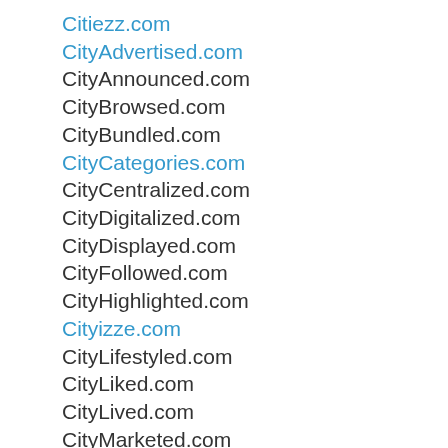Citiezz.com
CityAdvertised.com
CityAnnounced.com
CityBrowsed.com
CityBundled.com
CityCategories.com
CityCentralized.com
CityDigitalized.com
CityDisplayed.com
CityFollowed.com
CityHighlighted.com
Cityizze.com
CityLifestyled.com
CityLiked.com
CityLived.com
CityMarketed.com
CityNetworked.com
CityOrganized.com
CityPartnered.com
CityPosted.com